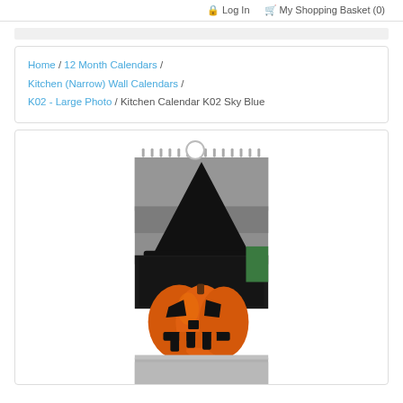Log In   My Shopping Basket (0)
Home / 12 Month Calendars / Kitchen (Narrow) Wall Calendars / K02 - Large Photo / Kitchen Calendar K02 Sky Blue
[Figure (photo): A wall calendar product image showing a Halloween-themed photo with a black cat wearing a witch hat sitting behind a carved jack-o-lantern pumpkin. The calendar has spiral binding at the top with a circular hanger loop.]